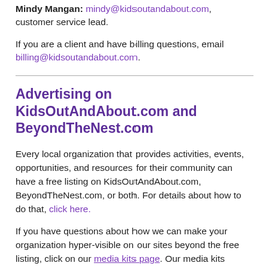Mindy Mangan: mindy@kidsoutandabout.com, customer service lead.
If you are a client and have billing questions, email billing@kidsoutandabout.com.
Advertising on KidsOutAndAbout.com and BeyondTheNest.com
Every local organization that provides activities, events, opportunities, and resources for their community can have a free listing on KidsOutAndAbout.com, BeyondTheNest.com, or both. For details about how to do that, click here.
If you have questions about how we can make your organization hyper-visible on our sites beyond the free listing, click on our media kits page. Our media kits provide a useful overview of what we offer to help you spread the word about what you're offering for kids, teens, and families in your area, plus show you reach and audience demographics both for our website and for our free weekly e-newsletter.